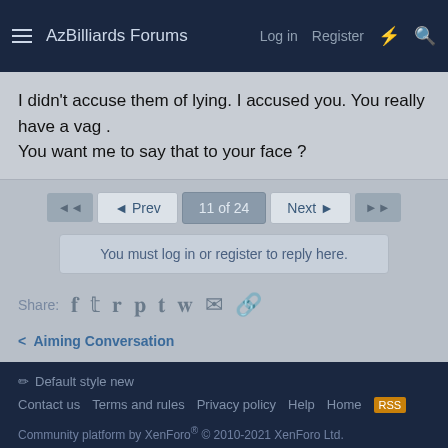AzBilliards Forums  Log in  Register
I didn't accuse them of lying. I accused you. You really have a vag .
You want me to say that to your face ?
◄◄  ◄ Prev  11 of 24  Next ►  ►►
You must log in or register to reply here.
Share:
< Aiming Conversation
Default style new
Contact us  Terms and rules  Privacy policy  Help  Home
Community platform by XenForo® © 2010-2021 XenForo Ltd.
Website is using Ultimate News Ticker created by StylesFactory | Add-ons by ThemeHouse